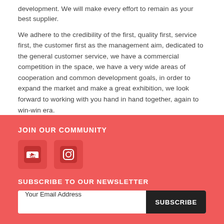development. We will make every effort to remain as your best supplier.
We adhere to the credibility of the first, quality first, service first, the customer first as the management aim, dedicated to the general customer service, we have a commercial competition in the space, we have a very wide areas of cooperation and common development goals, in order to expand the market and make a great exhibition, we look forward to working with you hand in hand together, again to win-win era.
JOIN OUR COMMUNITY
[Figure (illustration): Two rounded square social media icon buttons on red background: YouTube icon and Instagram/camera icon]
SUBSCRIBE TO OUR NEWSLETTER
Your Email Address  SUBSCRIBE